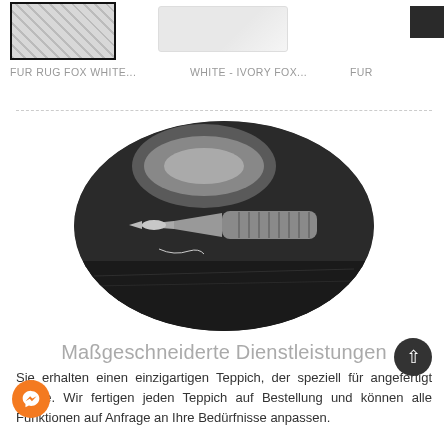[Figure (photo): Product thumbnails row: a fur rug photo (square, dark border), an ivory/white fur photo, and a small dark square image, partially cropped on right]
FUR RUG FOX WHITE...
WHITE - IVORY FOX...
FUR...
[Figure (photo): Black and white oval/rounded photograph of a tattoo needle/pen tool close-up on dark leather surface]
Maßgeschneiderte Dienstleistungen
Sie erhalten einen einzigartigen Teppich, der speziell für angefertigt wurde. Wir fertigen jeden Teppich auf Bestellung und können alle Funktionen auf Anfrage an Ihre Bedürfnisse anpassen.